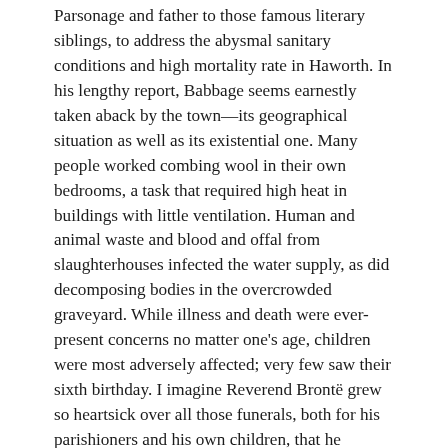Parsonage and father to those famous literary siblings, to address the abysmal sanitary conditions and high mortality rate in Haworth. In his lengthy report, Babbage seems earnestly taken aback by the town—its geographical situation as well as its existential one. Many people worked combing wool in their own bedrooms, a task that required high heat in buildings with little ventilation. Human and animal waste and blood and offal from slaughterhouses infected the water supply, as did decomposing bodies in the overcrowded graveyard. While illness and death were ever-present concerns no matter one's age, children were most adversely affected; very few saw their sixth birthday. I imagine Reverend Brontë grew so heartsick over all those funerals, both for his parishioners and his own children, that he proceeded to lean on what rudimentary medical science was available to him, to learn what he could, and petition the government for help. (It took years, however, after the damning Babbage report was published for authorities to finally act.)
It's no wonder the Brontës escaped out their kitchen door when they could. If Haworth huddled perpetually under a cloud of